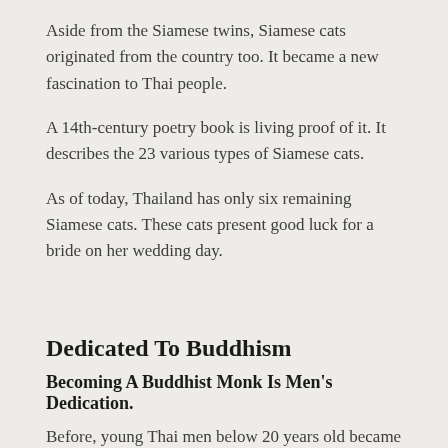Aside from the Siamese twins, Siamese cats originated from the country too. It became a new fascination to Thai people.
A 14th-century poetry book is living proof of it. It describes the 23 various types of Siamese cats.
As of today, Thailand has only six remaining Siamese cats. These cats present good luck for a bride on her wedding day.
Dedicated To Buddhism
Becoming A Buddhist Monk Is Men's Dedication.
Before, young Thai men below 20 years old became Buddhist monks. But all of their mission is to serve the...